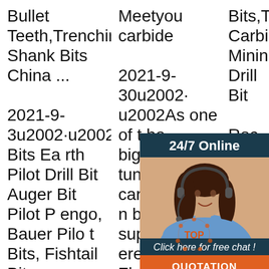Bullet Teeth,Trenching Shank Bits China ...
2021-9-3u2002·u2002Pilot Bits Earth Pilot Drill Bit Auger Bit Pilot Pengo, Bauer Pilot Bits, Fishtail Bits Foundation Drilling Teeth Auger Bits Pengo 1336 Dirt Teeth, Pengo Auger Teeth B17 Carbide Bit H
Meetyou carbide
2021-9-30u2002·u2002As one of the biggest tungsten carbide button bits suppliers here in Zhuzhou, Meetyou carbide has been offering a full range of tungsten carbide rock drilling buttons for 20 years. You can expect these tools for a
Bits,Tungsten Carbide Mining Drill Bits
Rock Drilling inRecommended is made from quality carbide steel, through special treatment so that it can be used for hard rock drilling, and transmit intensiv. 04-2020
[Figure (photo): Customer service representative woman with headset, overlaid with 24/7 Online banner, Click here for free chat text, and QUOTATION button in orange]